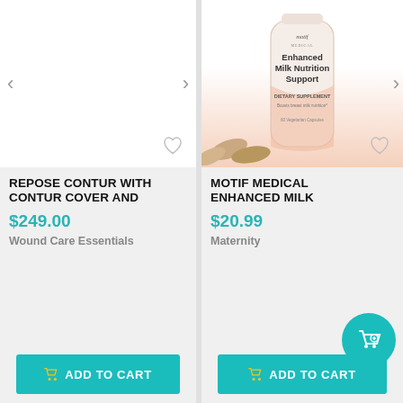[Figure (photo): Product card 1: blank white image area with navigation arrows and heart icon. Left arrow and right arrow visible.]
REPOSE CONTUR WITH CONTUR COVER AND
$249.00
Wound Care Essentials
ADD TO CART
[Figure (photo): Product card 2: Motif Medical Enhanced Milk Nutrition Support supplement bottle with capsules in front. White bottle with peach/pink gradient background. Label reads: motif medical, Enhanced Milk Nutrition Support, DIETARY SUPPLEMENT, Boosts breast milk nutrition, 60 Vegetarian Capsules.]
MOTIF MEDICAL ENHANCED MILK
$20.99
Maternity
ADD TO CART